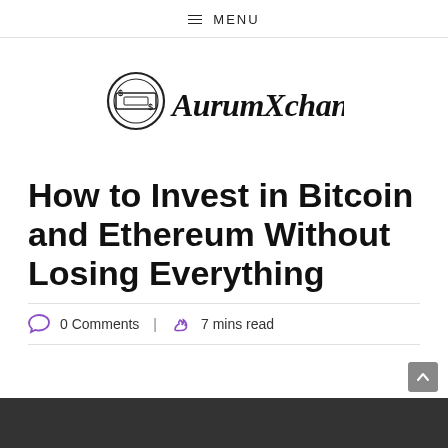≡ MENU
[Figure (logo): AurumXchange logo with circular money icon and stylized script text]
How to Invest in Bitcoin and Ethereum Without Losing Everything
0 Comments | 7 mins read